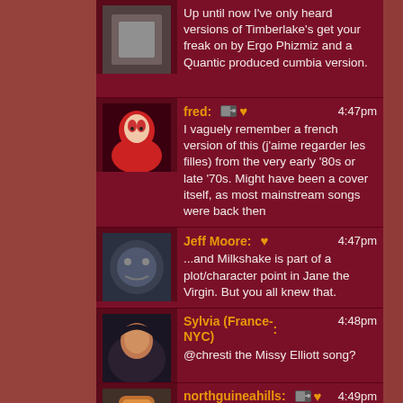Up until now I've only heard versions of Timberlake's get your freak on by Ergo Phizmiz and a Quantic produced cumbia version.
fred: 4:47pm
I vaguely remember a french version of this (j'aime regarder les filles) from the very early '80s or late '70s. Might have been a cover itself, as most mainstream songs were back then
Jeff Moore: 4:47pm
...and Milkshake is part of a plot/character point in Jane the Virgin. But you all knew that.
Sylvia (France-NYC): 4:48pm
@chresti the Missy Elliott song?
northguineahills: 4:49pm
First live concert for me, was the Thriller tour when I was 7 when my father took me. I still have images of the MJ look-alikes there in the stadium. It was awesome...
chresti: 4:50pm
Have not heard the Missy Elliot song, is 'get ur freak on' her song?